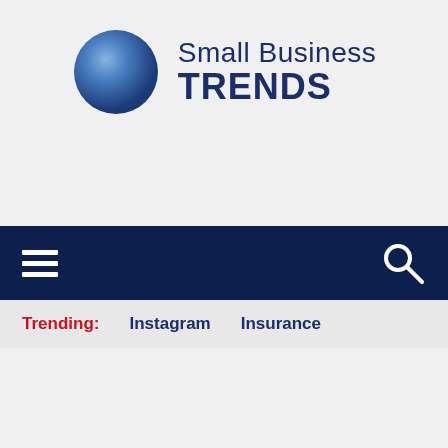[Figure (logo): Small Business Trends logo with blue gradient sphere and dark navy text reading 'Small Business TRENDS']
[Figure (screenshot): Navigation bar with dark navy background, hamburger menu icon on left, search/magnifying glass icon on right]
Trending: Instagram Insurance